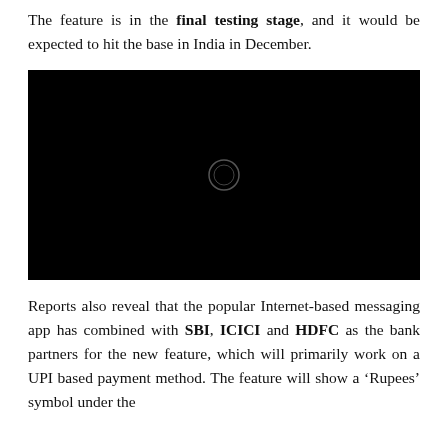The feature is in the final testing stage, and it would be expected to hit the base in India in December.
[Figure (other): Black video placeholder with a circular play button icon in the center]
Reports also reveal that the popular Internet-based messaging app has combined with SBI, ICICI and HDFC as the bank partners for the new feature, which will primarily work on a UPI based payment method. The feature will show a ‘Rupees’ symbol under the